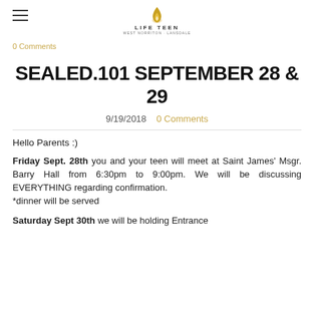LIFE TEEN
0 Comments
SEALED.101 SEPTEMBER 28 & 29
9/19/2018   0 Comments
Hello Parents :)
Friday Sept. 28th you and your teen will meet at Saint James' Msgr. Barry Hall from 6:30pm to 9:00pm. We will be discussing EVERYTHING regarding confirmation.
*dinner will be served
Saturday Sept 30th we will be holding Entrance